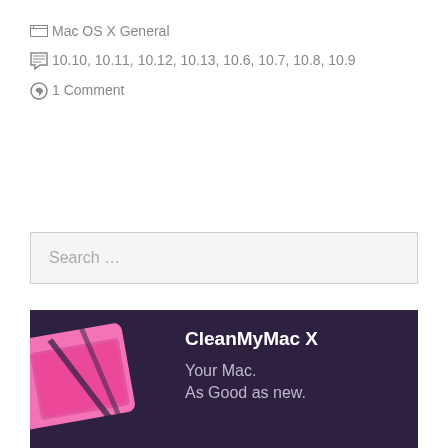Mac OS X General
10.10, 10.11, 10.12, 10.13, 10.6, 10.7, 10.8, 10.9
1 Comment
Search …
[Figure (illustration): CleanMyMac X advertisement banner with dark purple background, pink Mac laptop graphic on the left, bold white title 'CleanMyMac X' and subtitle 'Your Mac. As Good as new.' in light purple/grey text]